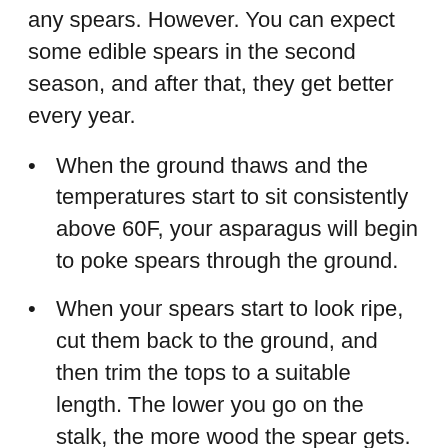any spears. However. You can expect some edible spears in the second season, and after that, they get better every year.
When the ground thaws and the temperatures start to sit consistently above 60F, your asparagus will begin to poke spears through the ground.
When your spears start to look ripe, cut them back to the ground, and then trim the tops to a suitable length. The lower you go on the stalk, the more wood the spear gets.
Clear away the foliage from the plant before